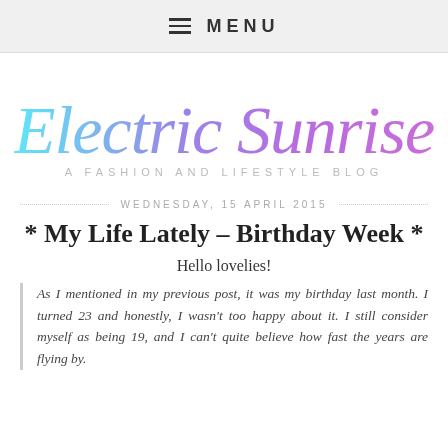≡ MENU
[Figure (logo): Electric Sunrise blog logo in gradient cursive script from cyan to purple, with tagline 'A FASHION AND LIFESTYLE BLOG' below]
WEDNESDAY, 15 APRIL 2015
* My Life Lately – Birthday Week *
Hello lovelies!
As I mentioned in my previous post, it was my birthday last month. I turned 23 and honestly, I wasn't too happy about it. I still consider myself as being 19, and I can't quite believe how fast the years are flying by.